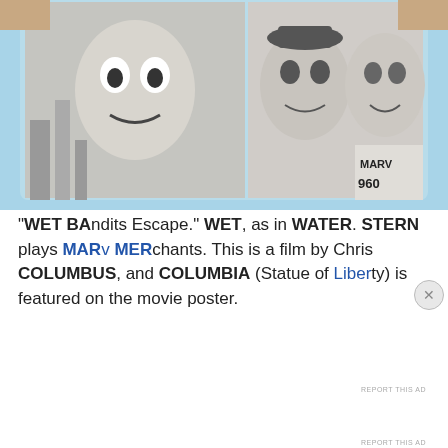[Figure (photo): Movie poster or promotional image showing three people holding photographs, on a light blue background. Text 'MARV' visible on one of the held images.]
"WET BAndits Escape." WET, as in WATER. STERN plays MARv MERchants. This is a film by Chris COLUMBUS, and COLUMBIA (Statue of Liberty) is featured on the movie poster.
Privacy & Cookies: This site uses cookies. By continuing to use this website, you agree to their use.
To find out more, including how to control cookies, see here: Cookie Policy
Close and accept